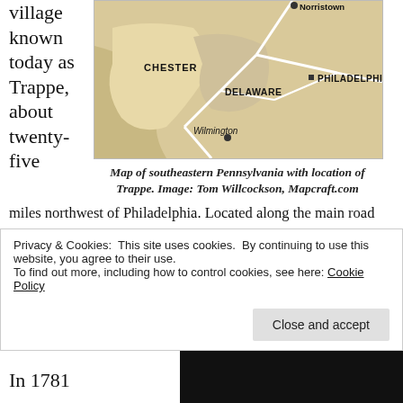village known today as Trappe, about twenty-five
[Figure (map): Map of southeastern Pennsylvania showing Chester, Delaware, Philadelphia counties, with Norristown, Philadelphia (marked with square), and Wilmington (marked with dot) labeled. Roads shown as white lines on tan/beige background.]
Map of southeastern Pennsylvania with location of Trappe. Image: Tom Willcockson, Mapcraft.com
miles northwest of Philadelphia. Located along the main road that connected Philadelphia and Reading, Trappe was a noisy, bustling place. In 1776, Henry Muhlenberg and his wife, Anna Maria, purchased a large stone house and seven-acre property that fronted on the road. Due to the
Privacy & Cookies: This site uses cookies. By continuing to use this website, you agree to their use.
To find out more, including how to control cookies, see here: Cookie Policy
Close and accept
In 1781